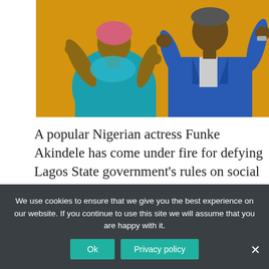[Figure (photo): Two people posed against a yellow/gold background. On the left is a woman wearing a teal/blue ruffled top with pink hair, hands raised expressively. On the right is a man in a blue checked suit jacket, also with hands raised.]
A popular Nigerian actress Funke Akindele has come under fire for defying Lagos State government's rules on social distancing amid the coronavirus pandemic.
We use cookies to ensure that we give you the best experience on our website. If you continue to use this site we will assume that you are happy with it.